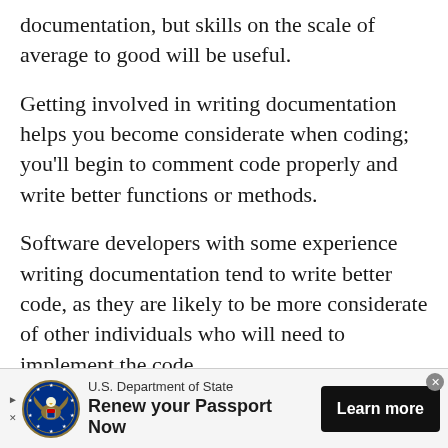documentation, but skills on the scale of average to good will be useful.
Getting involved in writing documentation helps you become considerate when coding; you’ll begin to comment code properly and write better functions or methods.
Software developers with some experience writing documentation tend to write better code, as they are likely to be more considerate of other individuals who will need to implement the code.
[Figure (other): Advertisement banner for U.S. Department of State: Renew your Passport Now. Shows the State Department seal/logo, text 'U.S. Department of State' and 'Renew your Passport Now', with a 'Learn more' button.]